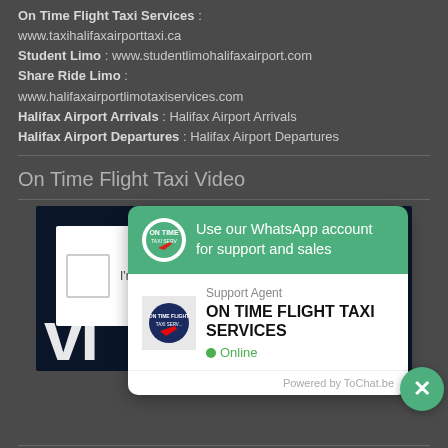On Time Flight Taxi Services : www.taxihalifaxairporttaxi.ca Student Limo : www.studentlimohalifaxairport.com Share Ride Limo : www.halifaxairportlimotaxiservices.com Halifax Airport Arrivals : Halifax Airport Arrivals Halifax Airport Departures : Halifax Airport Departures
On Time Flight Taxi Video
[Figure (screenshot): Video thumbnail showing dark navy background with large white 'vi' text, a white checkbox/captcha area, and overlaid WhatsApp support chat popup. The popup has a green header saying 'Use our WhatsApp account for support and sales', a white body with Support Agent 'ON TIME FLIGHT TAXI SERVICES' shown as Online, and powered by ToChat.be footer. Green close X button at bottom right.]
Link visiting...